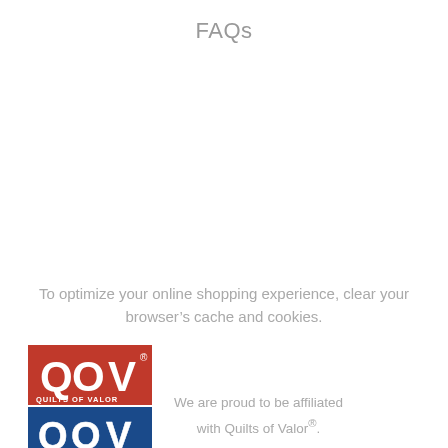FAQs
To optimize your online shopping experience, clear your browser’s cache and cookies.
[Figure (logo): Quilts of Valor (QOV) logo — red square with Q O V letters and 'QUILTS OF VALOR' text on top, blue square with Q O V letters on bottom]
We are proud to be affiliated with Quilts of Valor®.